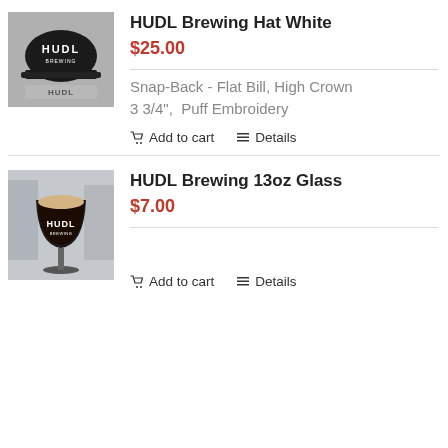[Figure (photo): Black HUDL Brewing snapback hat with white puff embroidery logo, front view with reflection showing HUDL text]
HUDL Brewing Hat White
$25.00
Snap-Back - Flat Bill, High Crown 3 3/4",  Puff Embroidery
Add to cart
Details
[Figure (photo): Black tulip snifter glass with HUDL Brewing logo in white, filled with dark beer and cream head, placed on a reflective surface]
HUDL Brewing 13oz Glass
$7.00
Add to cart
Details